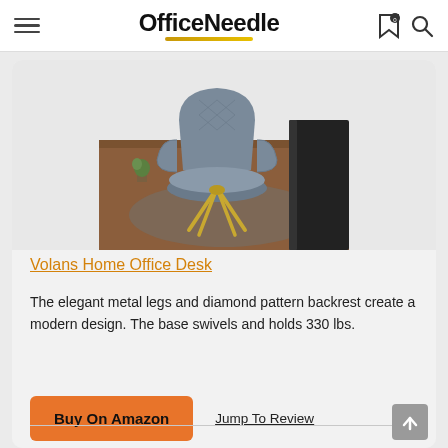OfficeNeedle
[Figure (photo): Gray upholstered accent chair with diamond pattern backrest and gold metal base legs, shown on a rug in a home office setting]
Volans Home Office Desk
The elegant metal legs and diamond pattern backrest create a modern design. The base swivels and holds 330 lbs.
Buy On Amazon
Jump To Review